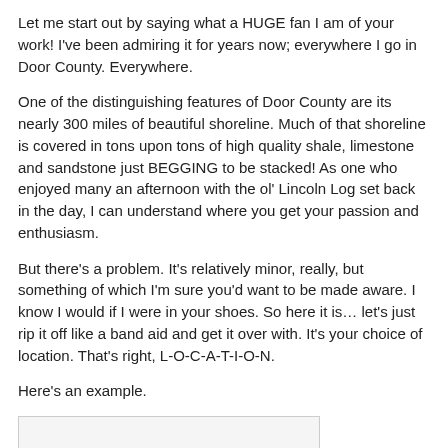Let me start out by saying what a HUGE fan I am of your work! I've been admiring it for years now; everywhere I go in Door County. Everywhere.
One of the distinguishing features of Door County are its nearly 300 miles of beautiful shoreline. Much of that shoreline is covered in tons upon tons of high quality shale, limestone and sandstone just BEGGING to be stacked! As one who enjoyed many an afternoon with the ol' Lincoln Log set back in the day, I can understand where you get your passion and enthusiasm.
But there's a problem. It's relatively minor, really, but something of which I'm sure you'd want to be made aware. I know I would if I were in your shoes. So here it is… let's just rip it off like a band aid and get it over with. It's your choice of location. That's right, L-O-C-A-T-I-O-N.
Here's an example.
[Figure (other): Empty or partially visible image box at the bottom of the page]